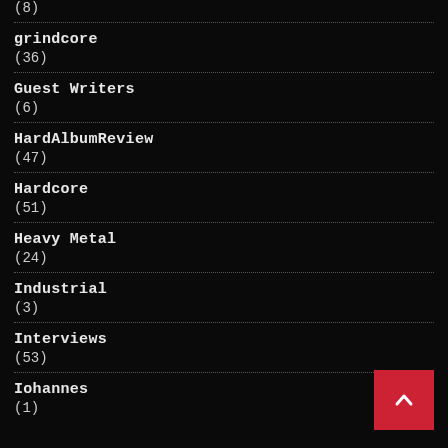(8)
grindcore
(36)
Guest Writers
(6)
HardAlbumReview
(47)
Hardcore
(51)
Heavy Metal
(24)
Industrial
(3)
Interviews
(53)
Iohannes
(1)